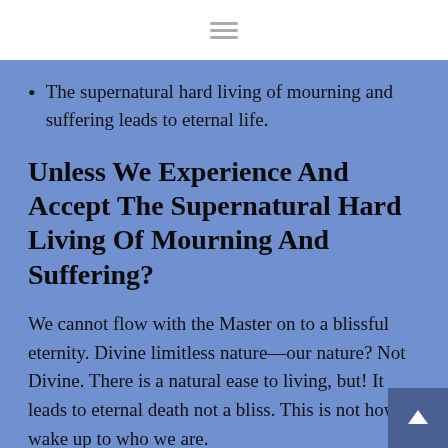The supernatural hard living of mourning and suffering leads to eternal life.
Unless We Experience And Accept The Supernatural Hard Living Of Mourning And Suffering?
We cannot flow with the Master on to a blissful eternity. Divine limitless nature—our nature? Not Divine. There is a natural ease to living, but! It leads to eternal death not a bliss. This is not how to wake up to who we are.